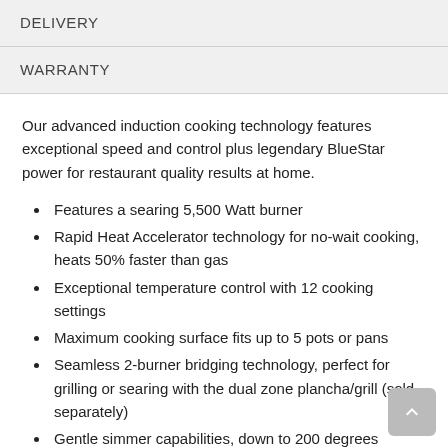DELIVERY
WARRANTY
Our advanced induction cooking technology features exceptional speed and control plus legendary BlueStar power for restaurant quality results at home.
Features a searing 5,500 Watt burner
Rapid Heat Accelerator technology for no-wait cooking, heats 50% faster than gas
Exceptional temperature control with 12 cooking settings
Maximum cooking surface fits up to 5 pots or pans
Seamless 2-burner bridging technology, perfect for grilling or searing with the dual zone plancha/grill (sold separately)
Gentle simmer capabilities, down to 200 degrees
Perfect Keep Warm (150 degrees) feature for